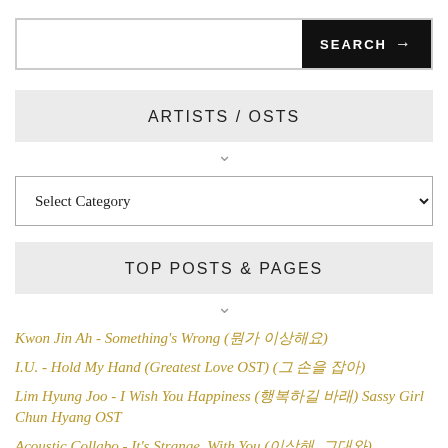[Figure (screenshot): Search bar with text input and black SEARCH button with arrow]
ARTISTS / OSTS
[Figure (screenshot): Select Category dropdown widget]
TOP POSTS & PAGES
Kwon Jin Ah - Something's Wrong (뭔가 이상해요)
I.U. - Hold My Hand (Greatest Love OST) (그 손을 잡아)
Lim Hyung Joo - I Wish You Happiness (행복하길 바래) Sassy Girl Chun Hyang OST
Acoustic Collabo - It's Strange, With You (이상해, 그대와) Discovery